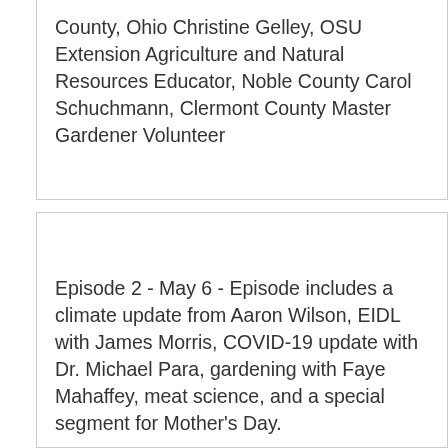County, Ohio Christine Gelley, OSU Extension Agriculture and Natural Resources Educator, Noble County Carol Schuchmann, Clermont County Master Gardener Volunteer
Episode 2 - May 6 - Episode includes a climate update from Aaron Wilson, EIDL with James Morris, COVID-19 update with Dr. Michael Para, gardening with Faye Mahaffey, meat science, and a special segment for Mother's Day.